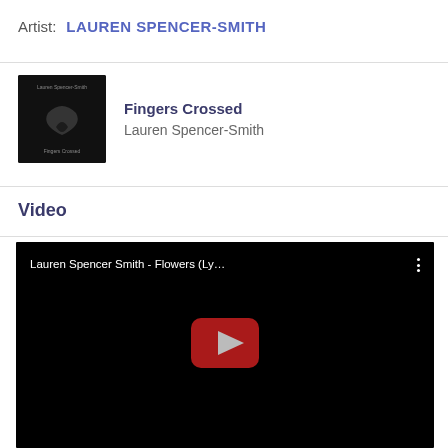Artist: LAUREN SPENCER-SMITH
[Figure (other): Album art thumbnail for Fingers Crossed — dark/black background with stylized text and graphic]
Fingers Crossed
Lauren Spencer-Smith
Video
[Figure (screenshot): YouTube video thumbnail for Lauren Spencer Smith - Flowers (Ly... with play button, dark background]